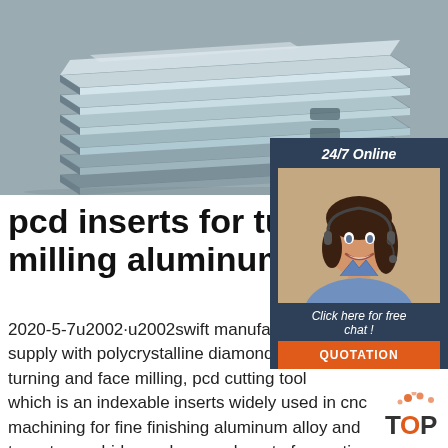[Figure (photo): Stacked steel/aluminum alloy plates or flat metal bars, industrial setting]
[Figure (infographic): 24/7 Online chat widget with female customer service agent wearing headset, blue-grey background, 'Click here for free chat!' text, and orange QUOTATION button]
pcd inserts for turning and milling aluminum alloy ...
2020-5-7u2002·u2002swift manufacturing supply with polycrystalline diamond pcd turning and face milling, pcd cutting tool which is an indexable inserts widely used in cnc machining for fine finishing aluminum alloy and tungsten carbide, such as work part of aumotive cylinder head,wheel hub,pressure tanks,gearbox shaft,valves and composite bearing materials,
[Figure (logo): TOP logo with orange dot pattern above text]